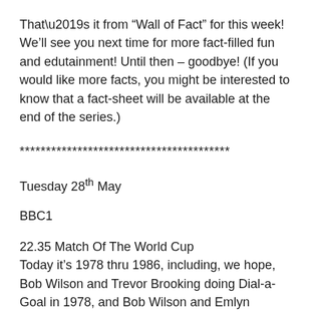That’s it from “Wall of Fact” for this week! We’ll see you next time for more fact-filled fun and edutainment! Until then – goodbye! (If you would like more facts, you might be interested to know that a fact-sheet will be available at the end of the series.)
****************************************
Tuesday 28th May
BBC1
22.35 Match Of The World Cup
Today it’s 1978 thru 1986, including, we hope, Bob Wilson and Trevor Brooking doing Dial-a-Goal in 1978, and Bob Wilson and Emlyn Hughes doing World Cup Report in 1986. And something from 1982 although we’re not sure what that might be because they never show any clips of the coverage of that tournament. Incidentally,